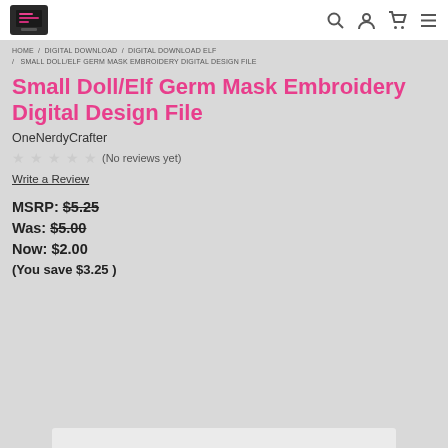OneNerdyCrafter store header with logo and navigation icons (search, account, cart, menu)
HOME / DIGITAL DOWNLOAD / DIGITAL DOWNLOAD ELF / SMALL DOLL/ELF GERM MASK EMBROIDERY DIGITAL DESIGN FILE
Small Doll/Elf Germ Mask Embroidery Digital Design File
OneNerdyCrafter
(No reviews yet)
Write a Review
MSRP: $5.25
Was: $5.00
Now: $2.00
(You save $3.25 )